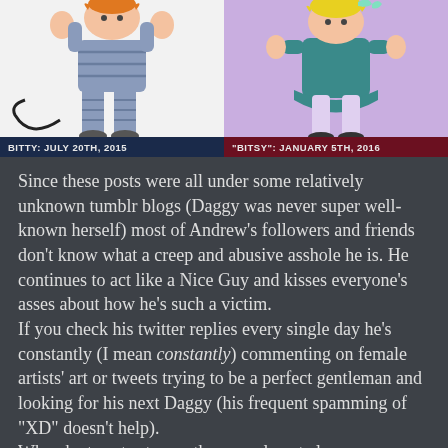[Figure (illustration): Two cartoon character illustrations side by side. Left panel shows a character named Bitty on a white background. Right panel shows a character named Bitsy on a purple background.]
BITTY: JULY 20TH, 2015   "BITSY": JANUARY 5TH, 2016
Since these posts were all under some relatively unknown tumblr blogs (Daggy was never super well-known herself) most of Andrew's followers and friends don't know what a creep and abusive asshole he is. He continues to act like a Nice Guy and kisses everyone's asses about how he's such a victim.
If you check his twitter replies every single day he's constantly (I mean constantly) commenting on female artists' art or tweets trying to be a perfect gentleman and looking for his next Daggy (his frequent spamming of "XD" doesn't help).
When he tweets at guys they are almost always popular/famous artists that he tries to act chummy to (including Arin Egoraptor Hanson who pity-replies to him enough already) and then he whines when they